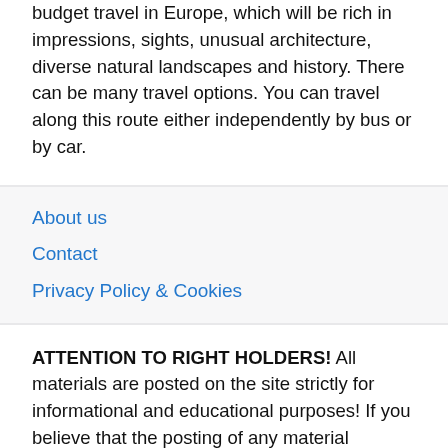budget travel in Europe, which will be rich in impressions, sights, unusual architecture, diverse natural landscapes and history. There can be many travel options. You can travel along this route either independently by bus or by car.
About us
Contact
Privacy Policy & Cookies
ATTENTION TO RIGHT HOLDERS! All materials are posted on the site strictly for informational and educational purposes! If you believe that the posting of any material